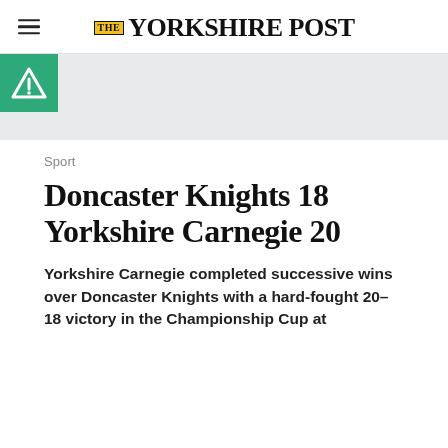THE YORKSHIRE POST
[Figure (logo): Green square icon with a white letter A (accessibility/advertiser logo)]
Sport
Doncaster Knights 18 Yorkshire Carnegie 20
Yorkshire Carnegie completed successive wins over Doncaster Knights with a hard-fought 20-18 victory in the Championship Cup at